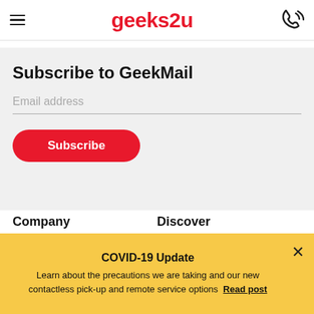geeks2u
Subscribe to GeekMail
Email address
Subscribe
Company
Discover
COVID-19 Update
Learn about the precautions we are taking and our new contactless pick-up and remote service options  Read post